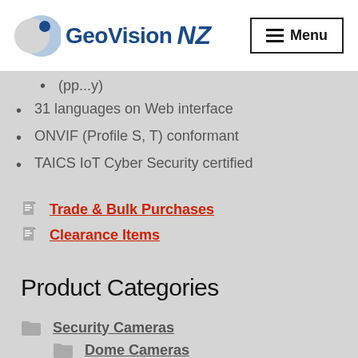GeoVision NZ | Menu
31 languages on Web interface
ONVIF (Profile S, T) conformant
TAICS IoT Cyber Security certified
Trade & Bulk Purchases
Clearance Items
Product Categories
Security Cameras
Dome Cameras